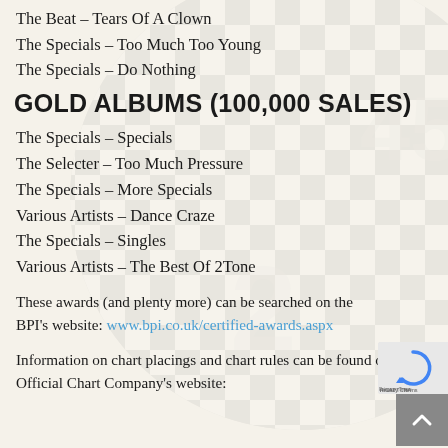The Beat – Tears Of A Clown
The Specials – Too Much Too Young
The Specials – Do Nothing
GOLD ALBUMS (100,000 SALES)
The Specials – Specials
The Selecter – Too Much Pressure
The Specials – More Specials
Various Artists – Dance Craze
The Specials – Singles
Various Artists – The Best Of 2Tone
These awards (and plenty more) can be searched on the BPI's website: www.bpi.co.uk/certified-awards.aspx
Information on chart placings and chart rules can be found on the Official Chart Company's website: